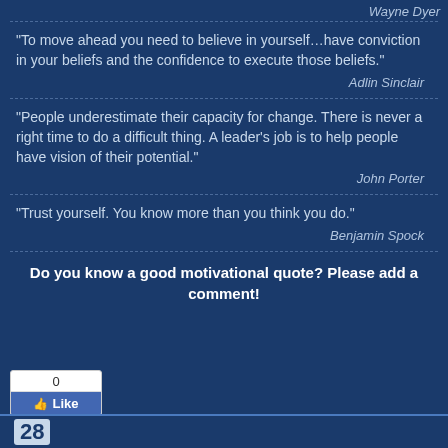Wayne Dyer
“To move ahead you need to believe in yourself…have conviction in your beliefs and the confidence to execute those beliefs.”
Adlin Sinclair
“People underestimate their capacity for change. There is never a right time to do a difficult thing. A leader’s job is to help people have vision of their potential.”
John Porter
“Trust yourself. You know more than you think you do.”
Benjamin Spock
Do you know a good motivational quote? Please add a comment!
[Figure (other): Facebook Like button widget showing 0 likes]